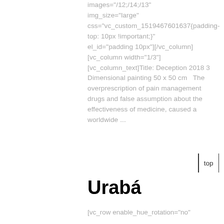images="/12;/14;/13"
img_size="large"
css="vc_custom_1519467601637{padding-top: 10px !important;}"
el_id="padding 10px"][/vc_column]
[vc_column width="1/3"]
[vc_column_text]Title: Deception 2018 3 Dimensional painting 50 x 50 cm   The overprescription of pain management drugs and false assumption about the effectiveness of medicine, caused a worldwide ...
top
Urabá
[vc_row enable_hue_rotation="no"